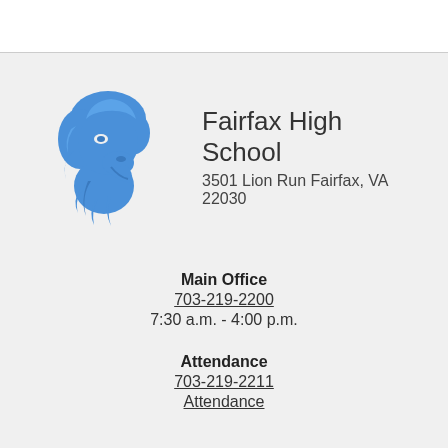[Figure (logo): Blue lion mascot logo for Fairfax High School]
Fairfax High School
3501 Lion Run Fairfax, VA 22030
Main Office
703-219-2200
7:30 a.m. - 4:00 p.m.
Attendance
703-219-2211
Attendance